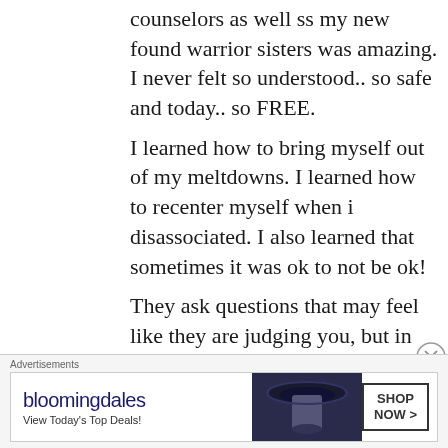counselors as well ss my new found warrior sisters was amazing. I never felt so understood.. so safe and today.. so FREE.
I learned how to bring myself out of my meltdowns. I learned how to recenter myself when i disassociated. I also learned that sometimes it was ok to not be ok!
They ask questions that may feel like they are judging you, but in reality they
[Figure (other): Bloomingdale's advertisement banner with hat image and Shop Now button]